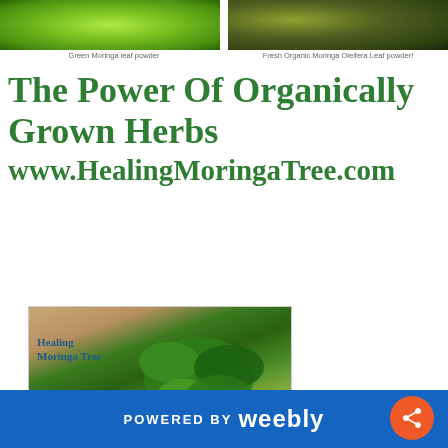[Figure (photo): Green Moringa leaf powder — bright green powder, left image]
Green Moringa leaf powder
[Figure (photo): Fresh Organic Moringa Oleifera Leaf powder in a glass bowl, right image]
Fresh Organic Moringa Oleifera Leaf powder!
The Power Of Organically Grown Herbs
www.HealingMoringaTree.com
[Figure (illustration): Twitter Tweet button — blue rounded button with bird icon and 'Tweet' text]
[Figure (photo): Photo of Moringa plant leaves held in hands, with Healing Moringa Tree logo/text overlay]
POWERED BY weebly